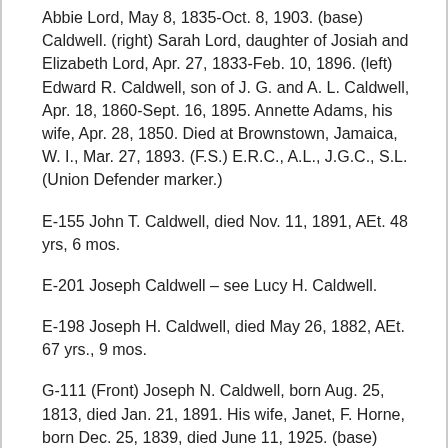Abbie Lord, May 8, 1835-Oct. 8, 1903. (base) Caldwell. (right) Sarah Lord, daughter of Josiah and Elizabeth Lord, Apr. 27, 1833-Feb. 10, 1896. (left) Edward R. Caldwell, son of J. G. and A. L. Caldwell, Apr. 18, 1860-Sept. 16, 1895. Annette Adams, his wife, Apr. 28, 1850. Died at Brownstown, Jamaica, W. I., Mar. 27, 1893. (F.S.) E.R.C., A.L., J.G.C., S.L. (Union Defender marker.)
E-155 John T. Caldwell, died Nov. 11, 1891, AEt. 48 yrs, 6 mos.
E-201 Joseph Caldwell – see Lucy H. Caldwell.
E-198 Joseph H. Caldwell, died May 26, 1882, AEt. 67 yrs., 9 mos.
G-111 (Front) Joseph N. Caldwell, born Aug. 25, 1813, died Jan. 21, 1891. His wife, Janet, F. Horne, born Dec. 25, 1839, died June 11, 1925. (base)